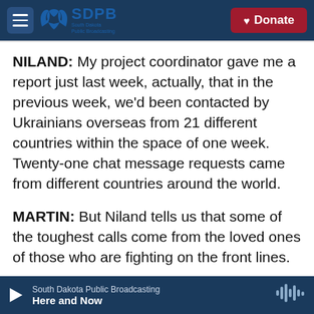SDPB South Dakota Public Broadcasting | Donate
NILAND: My project coordinator gave me a report just last week, actually, that in the previous week, we'd been contacted by Ukrainians overseas from 21 different countries within the space of one week. Twenty-one chat message requests came from different countries around the world.
MARTIN: But Niland tells us that some of the toughest calls come from the loved ones of those who are fighting on the front lines.
NILAND: It's those who have been left back at home who are fearful for potentially losing their
South Dakota Public Broadcasting | Here and Now